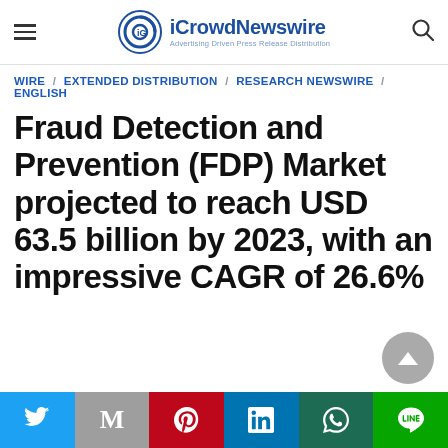iCrowdNewswire – Advertising Driven Press Release Distribution
WIRE / EXTENDED DISTRIBUTION / RESEARCH NEWSWIRE / ENGLISH
Fraud Detection and Prevention (FDP) Market projected to reach USD 63.5 billion by 2023, with an impressive CAGR of 26.6%